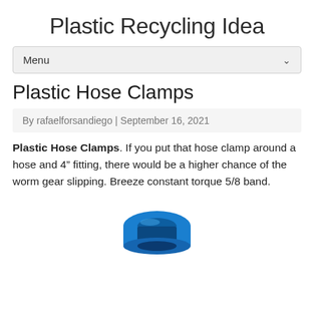Plastic Recycling Idea
Menu
Plastic Hose Clamps
By rafaelforsandiego | September 16, 2021
Plastic Hose Clamps. If you put that hose clamp around a hose and 4" fitting, there would be a higher chance of the worm gear slipping. Breeze constant torque 5/8 band.
[Figure (photo): Blue plastic hose clamp / ring, partially visible at bottom of page]